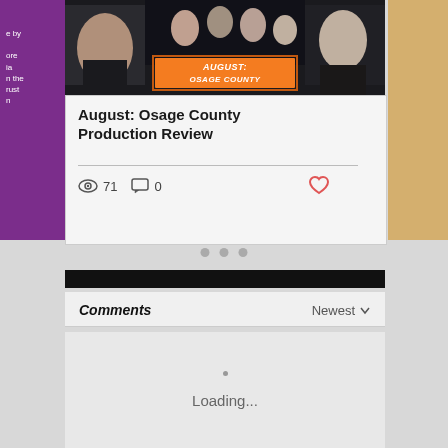[Figure (screenshot): Movie promotional image for August: Osage County with cast photos on dark background and orange movie title block]
August: Osage County Production Review
71 views, 0 comments
Comments  Newest
Loading...